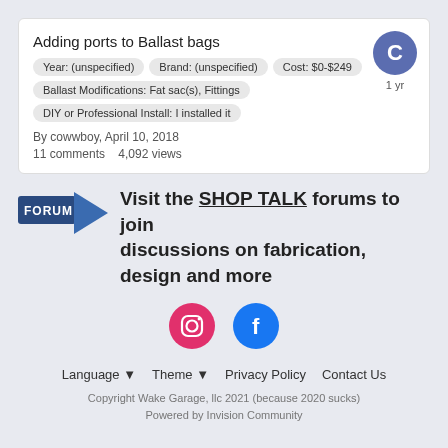Adding ports to Ballast bags
Year: (unspecified)
Brand: (unspecified)
Cost: $0-$249
Ballast Modifications: Fat sac(s), Fittings
DIY or Professional Install: I installed it
By cowwboy, April 10, 2018
11 comments   4,092 views
1 yr
Visit the SHOP TALK forums to join discussions on fabrication, design and more
[Figure (logo): Instagram icon - pink circle with camera outline]
[Figure (logo): Facebook icon - blue circle with f logo]
Language ▼   Theme ▼   Privacy Policy   Contact Us
Copyright Wake Garage, llc 2021 (because 2020 sucks)
Powered by Invision Community